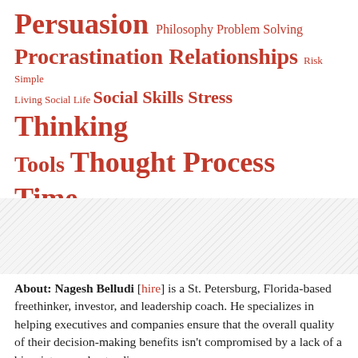[Figure (infographic): Tag cloud of topics in red text at various sizes: Persuasion (very large), Philosophy, Problem Solving, Procrastination, Relationships (large), Risk, Simple Living, Social Life (small), Social Skills, Stress (medium), Thinking (very large), Tools, Thought Process, Time Management (large), Winning on the Job (medium), Wisdom (medium)]
About: Nagesh Belludi [hire] is a St. Petersburg, Florida-based freethinker, investor, and leadership coach. He specializes in helping executives and companies ensure that the overall quality of their decision-making benefits isn't compromised by a lack of a big-picture understanding.